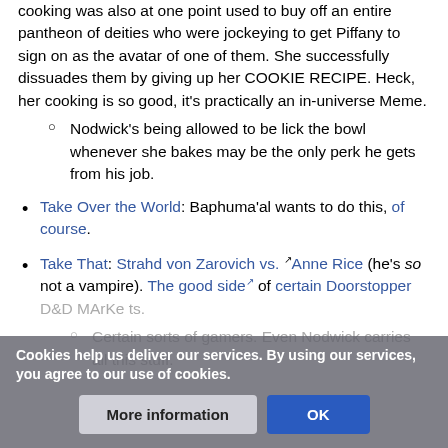cooking was also at one point used to buy off an entire pantheon of deities who were jockeying to get Piffany to sign on as the avatar of one of them. She successfully dissuades them by giving up her COOKIE RECIPE. Heck, her cooking is so good, it's practically an in-universe Meme.
Nodwick's being allowed to be lick the bowl whenever she bakes may be the only perk he gets from his job.
Take Over the World: Baphuma'al wants to do this, of course.
Take That: Strahd von Zarovich vs. Anne Rice (he's so not a vampire). The good side of certain Doorstopper D&D MArKe ts.
Certain sorts of gamers. Even Nodwick carries all this stuff.
Cookies help us deliver our services. By using our services, you agree to our use of cookies.